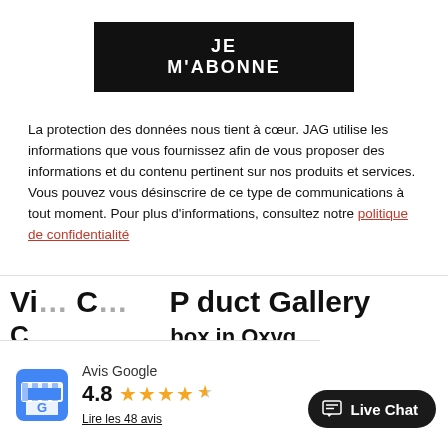JE M'ABONNE
La protection des données nous tient à cœur. JAG utilise les informations que vous fournissez afin de vous proposer des informations et du contenu pertinent sur nos produits et services. Vous pouvez vous désinscrire de ce type de communications à tout moment. Pour plus d'informations, consultez notre politique de confidentialité
26/10/2021
[Figure (screenshot): Bottom section showing partial article titles and Google review widget with 4.8 rating and Live Chat button]